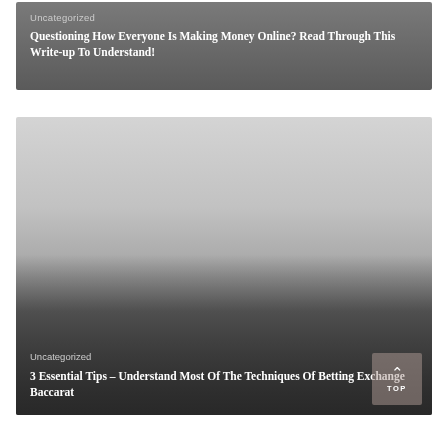Uncategorized
Questioning How Everyone Is Making Money Online? Read Through This Write-up To Understand!
[Figure (photo): Large image card with gradient background, light gray at top transitioning to dark gray at bottom, with category label and article title overlaid at the bottom.]
Uncategorized
3 Essential Tips – Understand Most Of The Techniques Of Betting Exchange Baccarat